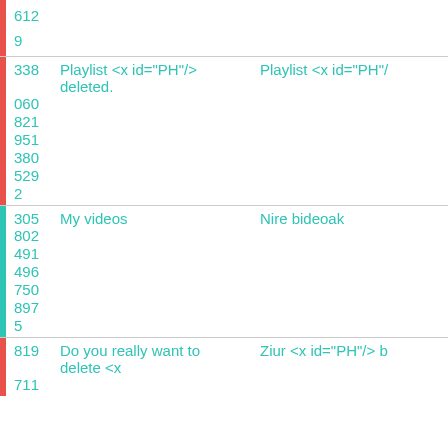| ID | Source Text | Translation |
| --- | --- | --- |
| 612 |  |  |
| 9 |  |  |
| 338 | Playlist <x id="PH"/> deleted. | Playlist <x id="PH"/... |
| 060 |  |  |
| 821 |  |  |
| 951 |  |  |
| 380 |  |  |
| 529 |  |  |
| 2 |  |  |
| 305 | My videos | Nire bideoak |
| 802 |  |  |
| 491 |  |  |
| 496 |  |  |
| 750 |  |  |
| 897 |  |  |
| 5 |  |  |
| 819 | Do you really want to delete <x | Ziur <x id="PH"/> b |
| 711 |  |  |